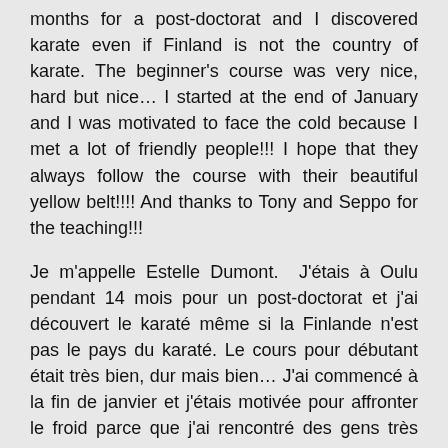months for a post-doctorat and I discovered karate even if Finland is not the country of karate. The beginner's course was very nice, hard but nice… I started at the end of January and I was motivated to face the cold because I met a lot of friendly people!!! I hope that they always follow the course with their beautiful yellow belt!!!! And thanks to Tony and Seppo for the teaching!!!
Je m'appelle Estelle Dumont. J'étais à Oulu pendant 14 mois pour un post-doctorat et j'ai découvert le karaté même si la Finlande n'est pas le pays du karaté. Le cours pour débutant était très bien, dur mais bien… J'ai commencé à la fin de janvier et j'étais motivée pour affronter le froid parce que j'ai rencontré des gens très gentils !!! J'espère qu'ils suivent toujours le cours avec leur belle ceinture jaune !!!! Et merci à Tony et Seppo pour l'entraînement !!!